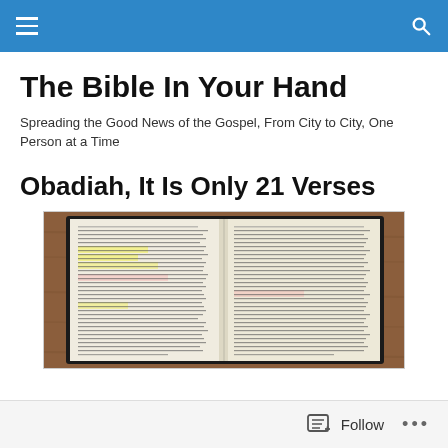Navigation bar with menu and search icons
The Bible In Your Hand
Spreading the Good News of the Gospel, From City to City, One Person at a Time
Obadiah, It Is Only 21 Verses
[Figure (photo): An open Bible with two pages visible, showing dense printed text in two columns per page, with some highlighted passages in yellow and pink. The Bible is resting on a wooden surface.]
Follow  •••